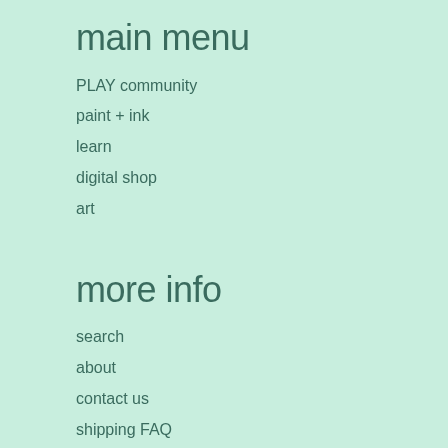main menu
PLAY community
paint + ink
learn
digital shop
art
more info
search
about
contact us
shipping FAQ
terms of use
angel policy